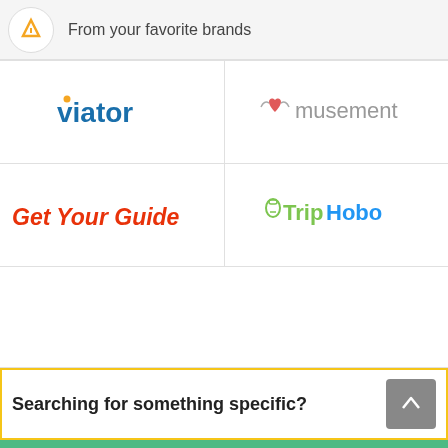From your favorite brands
[Figure (logo): Viator logo in blue text with orange dot]
[Figure (logo): Musement logo with red heart icon and gray text]
[Figure (logo): GetYourGuide logo in red italic bold text]
[Figure (logo): TripHobo logo with green Trip and blue Hobo text with backpack icon]
Searching for something specific?
Start Planning